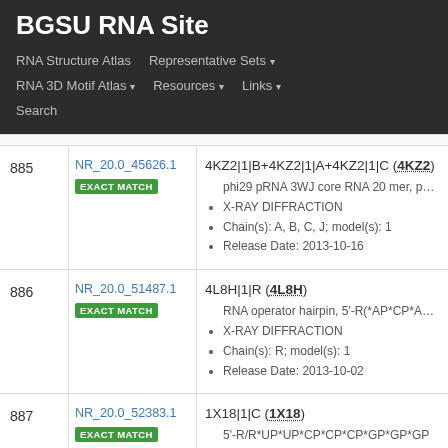BGSU RNA Site
RNA Structure Atlas | Representative Sets | RNA 3D Motif Atlas | Resources | Links | Search
| # | ID / Match | Structure Info |
| --- | --- | --- |
| 885 | NR_20.0_45626.1
EXACT MATCH | 4KZ2|1|B+4KZ2|1|A+4KZ2|1|C (4KZ2)
• phi29 pRNA 3WJ core RNA 20 mer, phi29
• X-RAY DIFFRACTION
• Chain(s): A, B, C, J; model(s): 1
• Release Date: 2013-10-16 |
| 886 | NR_20.0_51487.1
EXACT MATCH | 4L8H|1|R (4L8H)
• RNA operator hairpin, 5'-R(*AP*CP*AP*U...
• X-RAY DIFFRACTION
• Chain(s): R; model(s): 1
• Release Date: 2013-10-02 |
| 887 | NR_20.0_52383.1
EXACT MATCH | 1X18|1|C (1X18)
• 5'-R/R*UP*UP*CP*CP*CP*GP*GP*GP... |